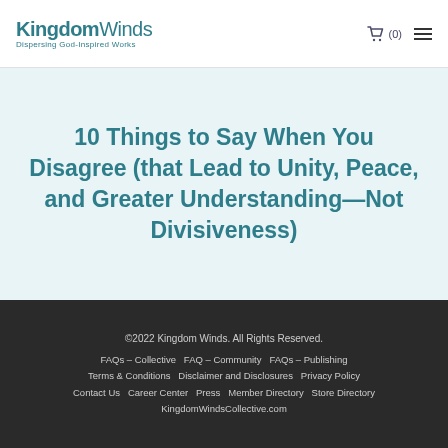KingdomWinds — Dispersing God-Inspired Works
10 Things to Say When You Disagree (that Lead to Unity, Peace, and Greater Understanding—Not Divisiveness)
©2022 Kingdom Winds. All Rights Reserved. FAQs – Collective  FAQ – Community  FAQs – Publishing  Terms & Conditions  Disclaimer and Disclosures  Privacy Policy  Contact Us  Career Center  Press  Member Directory  Store Directory  KingdomWindsCollective.com